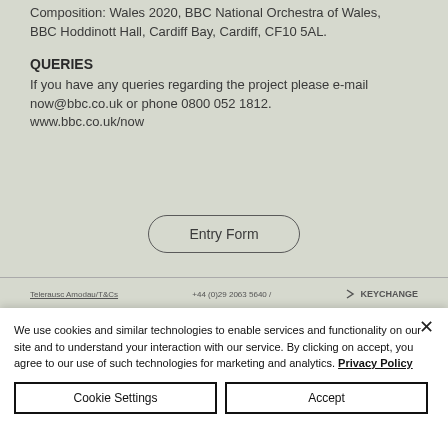Composition: Wales 2020, BBC National Orchestra of Wales, BBC Hoddinott Hall, Cardiff Bay, Cardiff, CF10 5AL.
QUERIES
If you have any queries regarding the project please e-mail now@bbc.co.uk or phone 0800 052 1812. www.bbc.co.uk/now
[Figure (other): Entry Form button - rounded pill-shaped button with text 'Entry Form']
Telerausc Amodau/T&Cs   +44 (0)29 2063 5640 /   KEYCHANGE
We use cookies and similar technologies to enable services and functionality on our site and to understand your interaction with our service. By clicking on accept, you agree to our use of such technologies for marketing and analytics. Privacy Policy
Cookie Settings
Accept